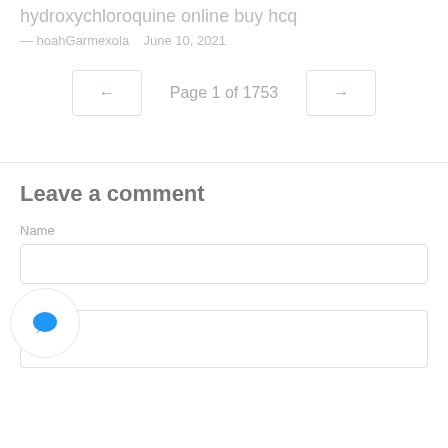hydroxychloroquine online buy hcq
— hoahGarmexola   June 10, 2021
← Page 1 of 1753 →
Leave a comment
Name
[Figure (illustration): Chat bubble icon — blue speech bubble on white circle with light border]
Comment text area